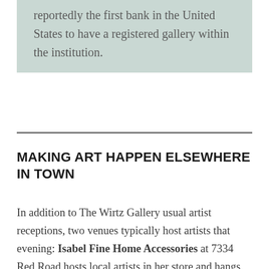reportedly the first bank in the United States to have a registered gallery within the institution.
MAKING ART HAPPEN ELSEWHERE IN TOWN
In addition to The Wirtz Gallery usual artist receptions, two venues typically host artists that evening: Isabel Fine Home Accessories at 7334 Red Road hosts local artists in her store and hangs the work for